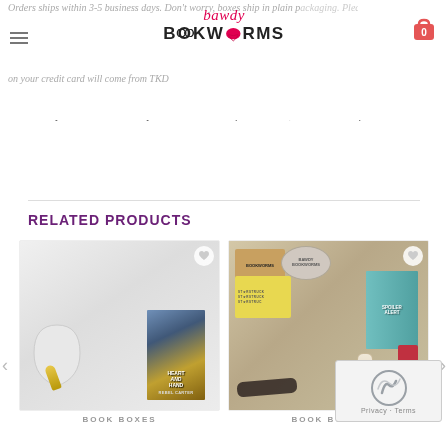Bawdy Bookworms
Orders ships within 3-5 business days. Don't worry, boxes ship in plain packaging. Please note that charges on your credit card will come from TKD Enterprises. Due to the personal nature of our items, all sales are final.
RELATED PRODUCTS
[Figure (photo): Product image showing Heart and Hand book by Rebel Carter with a guitar-shaped cookie cutter and a gold bullet vibrator on a white background. BOOK BOXES category.]
BOOK BOXES
[Figure (photo): Product image showing a Bawdy Bookworms book box with Spoiler Alert book, Bookworms branded box, and various items including restraints and adult products on a light background. BOOK BOXES category.]
BOOK BOXES